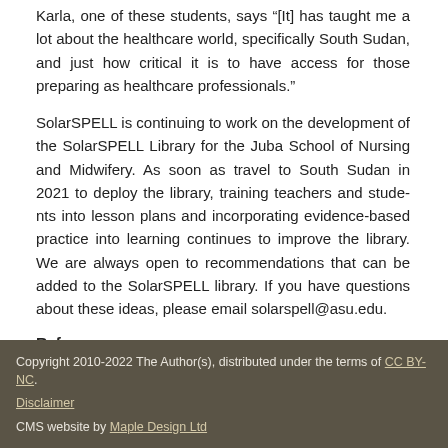Karla, one of these students, says “[It] has taught me a lot about the healthcare world, specifically South Sudan, and just how critical it is to have access for those preparing as healthcare professionals.”
SolarSPELL is continuing to work on the development of the SolarSPELL Library for the Juba School of Nursing and Midwifery. As soon as travel to South Sudan in 2021 to deploy the library, training teachers and students into lesson plans and incorporating evidence-based practice into learning continues to improve the library. We are always open to recommendations that can be added to the SolarSPELL library. If you have questions about these ideas, please email solarspell@asu.edu.
References
1. State of the World’s Nursing 2020
2. Year of the Nurse and Midwife 2020
Copyright 2010-2022 The Author(s), distributed under the terms of CC BY-NC. Disclaimer CMS website by Maple Design Ltd